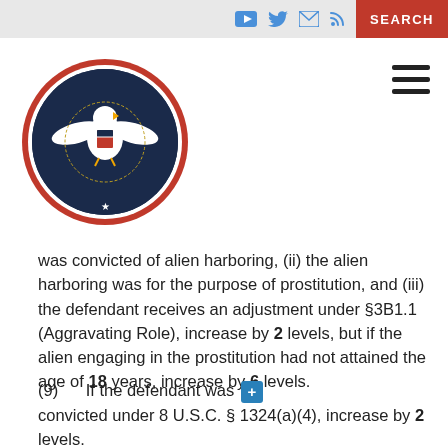[Figure (logo): United States Sentencing Commission circular seal with eagle emblem, navy blue and red border]
was convicted of alien harboring, (ii) the alien harboring was for the purpose of prostitution, and (iii) the defendant receives an adjustment under §3B1.1 (Aggravating Role), increase by 2 levels, but if the alien engaging in the prostitution had not attained the age of 18 years, increase by 6 levels.
(9)      If the defendant was convicted under 8 U.S.C. § 1324(a)(4), increase by 2 levels.